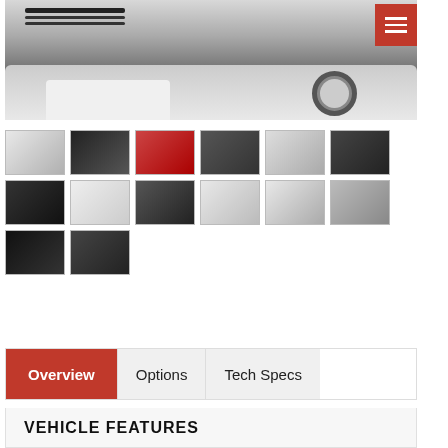[Figure (photo): White Jeep Cherokee SUV front view, main large photo with red hamburger menu button in top-right corner]
[Figure (photo): Thumbnail gallery of 14 vehicle photos: exterior and interior shots of white Jeep Cherokee SUV]
Overview   Options   Tech Specs (tab navigation, Overview active in red)
VEHICLE FEATURES